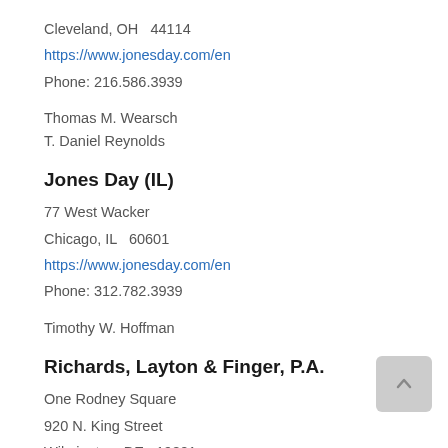Cleveland, OH   44114
https://www.jonesday.com/en
Phone: 216.586.3939
Thomas M. Wearsch
T. Daniel Reynolds
Jones Day (IL)
77 West Wacker
Chicago, IL   60601
https://www.jonesday.com/en
Phone: 312.782.3939
Timothy W. Hoffman
Richards, Layton & Finger, P.A.
One Rodney Square
920 N. King Street
Wilmington, DE   19801
http://www.rlf.com/
Phone: 302.651.7700
Fax: 302.651.7701